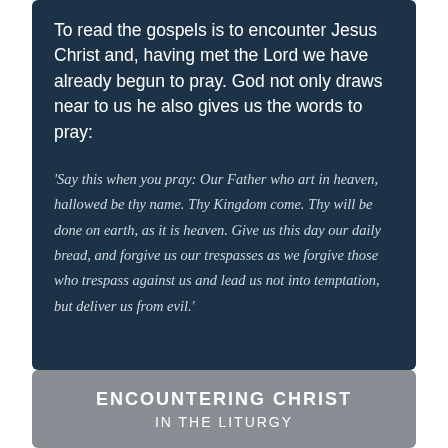To read the gospels is to encounter Jesus Christ and, having met the Lord we have already begun to pray. God not only draws near to us he also gives us the words to pray:
'Say this when you pray: Our Father who art in heaven, hallowed be thy name. Thy Kingdom come. Thy will be done on earth, as it is heaven. Give us this day our daily bread, and forgive us our trespasses as we forgive those who trespass against us and lead us not into temptation, but deliver us from evil.'
ENCOUNTERING CHRIST
IN THE LITURGY